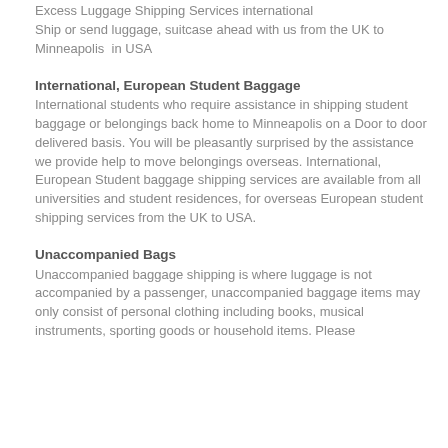Excess Luggage Shipping Services international
Ship or send luggage, suitcase ahead with us from the UK to Minneapolis  in USA
International, European Student Baggage
International students who require assistance in shipping student baggage or belongings back home to Minneapolis on a Door to door delivered basis. You will be pleasantly surprised by the assistance we provide help to move belongings overseas. International,  European Student baggage shipping services are available from all universities and student residences, for overseas European student shipping services from the UK to USA.
Unaccompanied Bags
Unaccompanied baggage shipping is where luggage is not accompanied by a passenger, unaccompanied baggage items may only consist of personal clothing including books, musical instruments, sporting goods or household items. Please